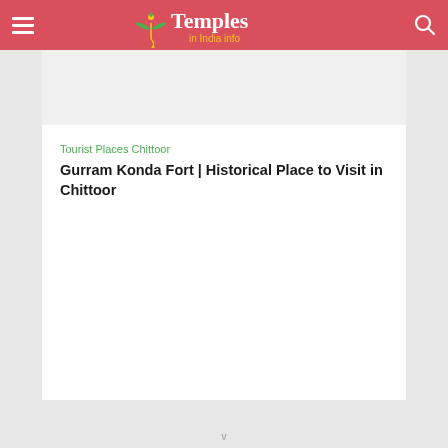Temples in India info
[Figure (other): Advertisement placeholder banner, light gray background]
Tourist Places Chittoor
Gurram Konda Fort | Historical Place to Visit in Chittoor